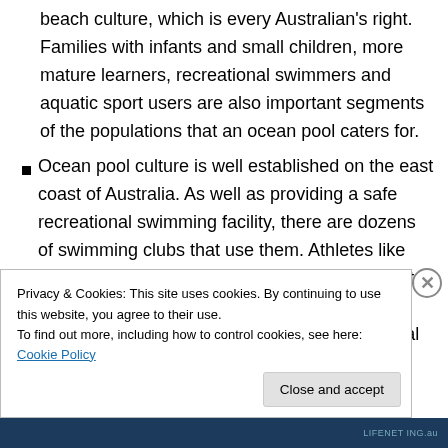beach culture, which is every Australian's right. Families with infants and small children, more mature learners, recreational swimmers and aquatic sport users are also important segments of the populations that an ocean pool caters for.
Ocean pool culture is well established on the east coast of Australia. As well as providing a safe recreational swimming facility, there are dozens of swimming clubs that use them. Athletes like Olympic gold medal winner Shane Gould learnt to swim in one. She is a strong advocate of learning in a natural...
Privacy & Cookies: This site uses cookies. By continuing to use this website, you agree to their use. To find out more, including how to control cookies, see here: Cookie Policy